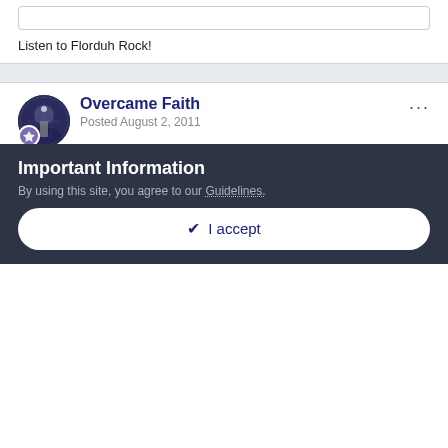Listen to Florduh Rock!
Overcame Faith
Posted August 2, 2011
Being scared you have a brain tumor can lead to even more anxiety. Eliminate that portion of your anxiety by ruling out the possibility of a brain tumor. In other words, get yourself to a doctor pronto. And when you see the doctor, tell him/her everything!!!!!!
Important Information
By using this site, you agree to our Guidelines.
✔ I accept